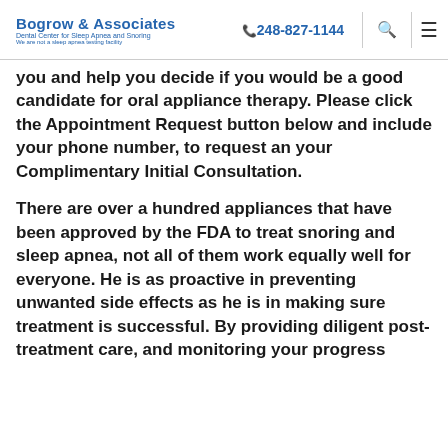Bogrow & Associates | Dental Center for Sleep Apnea and Snoring - We are not a sleep apnea testing facility | 248-827-1144
you and help you decide if you would be a good candidate for oral appliance therapy. Please click the Appointment Request button below and include your phone number, to request an your Complimentary Initial Consultation.
There are over a hundred appliances that have been approved by the FDA to treat snoring and sleep apnea, not all of them work equally well for everyone. He is as proactive in preventing unwanted side effects as he is in making sure treatment is successful. By providing diligent post-treatment care, and monitoring your progress